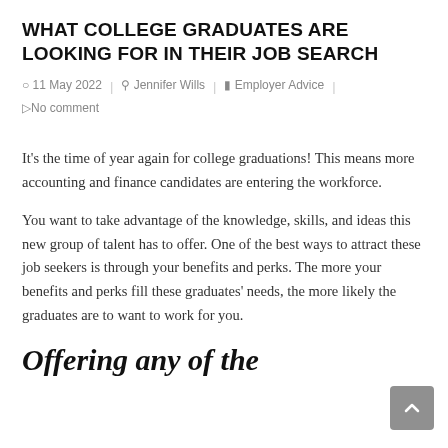WHAT COLLEGE GRADUATES ARE LOOKING FOR IN THEIR JOB SEARCH
11 May 2022   Jennifer Wills   Employer Advice   No comment
It's the time of year again for college graduations! This means more accounting and finance candidates are entering the workforce.
You want to take advantage of the knowledge, skills, and ideas this new group of talent has to offer. One of the best ways to attract these job seekers is through your benefits and perks. The more your benefits and perks fill these graduates' needs, the more likely the graduates are to want to work for you.
Offering any of the